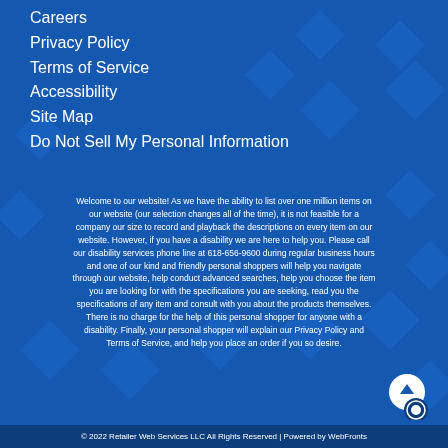Careers
Privacy Policy
Terms of Service
Accessibility
Site Map
Do Not Sell My Personal Information
Welcome to our website! As we have the ability to list over one million items on our website (our selection changes all of the time), it is not feasible for a company our size to record and playback the descriptions on every item on our website. However, if you have a disability we are here to help you. Please call our disability services phone line at 618-656-9600 during regular business hours and one of our kind and friendly personal shoppers will help you navigate through our website, help conduct advanced searches, help you choose the item you are looking for with the specifications you are seeking, read you the specifications of any item and consult with you about the products themselves. There is no charge for the help of this personal shopper for anyone with a disability. Finally, your personal shopper will explain our Privacy Policy and Terms of Service, and help you place an order if you so desire.
© 2022 Retailer Web Services LLC All Rights Reserved | Powered by WebFronts